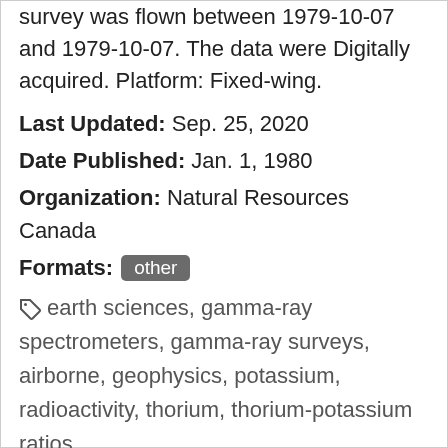survey was flown between 1979-10-07 and 1979-10-07. The data were Digitally acquired. Platform: Fixed-wing.
Last Updated: Sep. 25, 2020
Date Published: Jan. 1, 1980
Organization: Natural Resources Canada
Formats: other
earth sciences, gamma-ray spectrometers, gamma-ray surveys, airborne, geophysics, potassium, radioactivity, thorium, thorium-potassium ratios